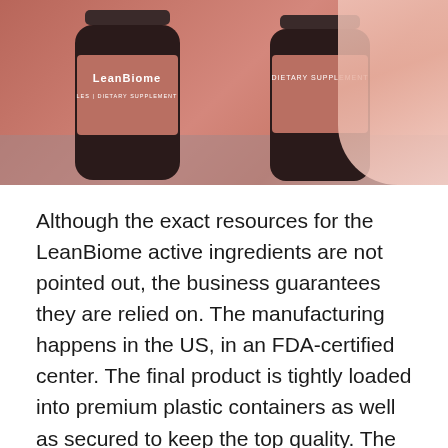[Figure (photo): Two dark bottles of LeanBiome dietary supplement with salmon/terracotta colored labels, placed on a wooden surface with a pink cloth in the background. White text on the bottles reads 'LeanBiome' and 'DIETARY SUPPLEMENT'.]
Although the exact resources for the LeanBiome active ingredients are not pointed out, the business guarantees they are relied on. The manufacturing happens in the US, in an FDA-certified center. The final product is tightly loaded into premium plastic containers as well as secured to keep the top quality. The firm additionally mentions that it checks every batch with a third-party screening facility to prevent the threat of contamination.